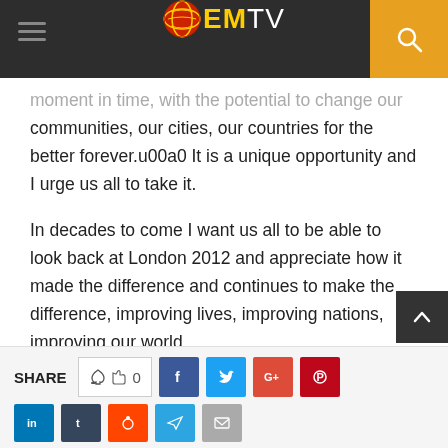EMTV
moment in time, with the potential to change our communities, our cities, our countries for the better forever.u00a0 It is a unique opportunity and I urge us all to take it.

In decades to come I want us all to be able to look back at London 2012 and appreciate how it made the difference and continues to make the difference, improving lives, improving nations, improving our world.

I am immensely proud that London will be hosting the Paralympic Games and I look forward to welcoming the world to the UK this summer.
SHARE   0